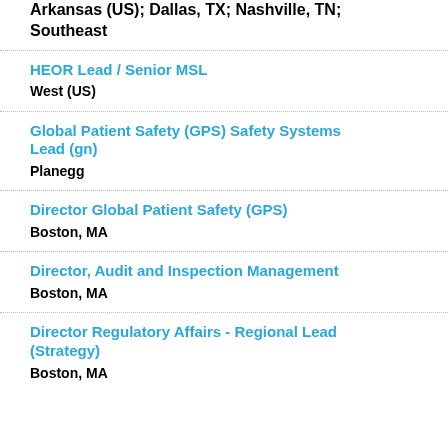Arkansas (US); Dallas, TX; Nashville, TN; Southeast
HEOR Lead / Senior MSL
West (US)
Global Patient Safety (GPS) Safety Systems Lead (gn)
Planegg
Director Global Patient Safety (GPS)
Boston, MA
Director, Audit and Inspection Management
Boston, MA
Director Regulatory Affairs - Regional Lead (Strategy)
Boston, MA